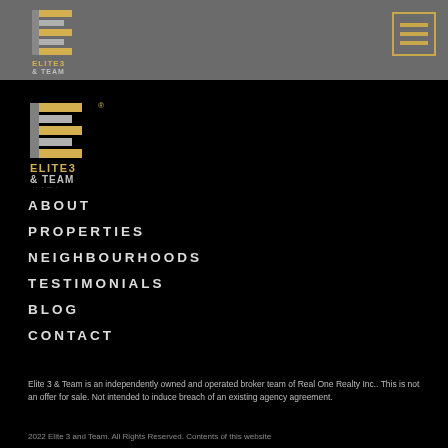Elite 3 & Team — navigation header with logo and hamburger menu
[Figure (logo): Elite 3 & Team logo — stylized E made of horizontal bars in gold and silver, with text ELITE3 & TEAM and Chinese characters below]
ABOUT
PROPERTIES
NEIGHBOURHOODS
TESTIMONIALS
BLOG
CONTACT
Elite 3 & Team is an independently owned and operated broker team of Real One Realty Inc.. This is not an offer for sale. Not intended to induce breach of an existing agency agreement.
2022 Elite 3 and Team. All Rights Reserved. Contents of this website